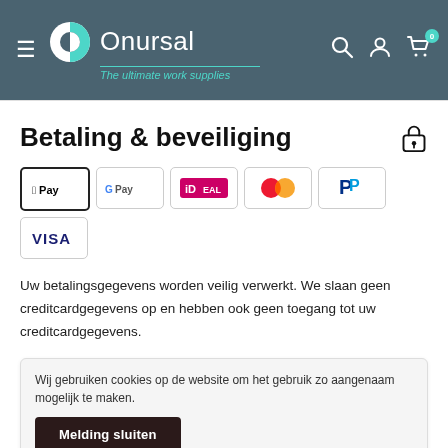[Figure (logo): Onursal logo with teal/white circular icon and text 'Onursal', tagline 'The ultimate work supplies', on dark teal header with hamburger menu and cart/account icons]
Betaling & beveiliging
[Figure (infographic): Payment method icons: Apple Pay, Google Pay, iDEAL, Mastercard, PayPal, VISA]
Uw betalingsgegevens worden veilig verwerkt. We slaan geen creditcardgegevens op en hebben ook geen toegang tot uw creditcardgegevens.
Wij gebruiken cookies op de website om het gebruik zo aangenaam mogelijk te maken.
Melding sluiten
Land